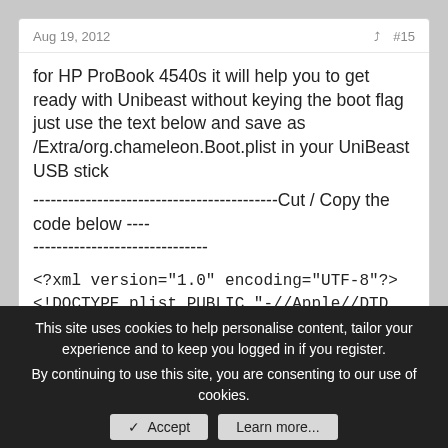Aug 19, 2012   #15
for HP ProBook 4540s it will help you to get ready with Unibeast without keying the boot flag just use the text below and save as /Extra/org.chameleon.Boot.plist in your UniBeast USB stick
-------------------------------------------Cut / Copy the code below ----
------------------------------
<?xml version="1.0" encoding="UTF-8"?>
<!DOCTYPE plist PUBLIC "-//Apple//DTD PLIST 1.0//EN"
"http://www.apple.com/DTDs/PropertyList-1.0.dtd">
<plist version="1.0">
<dict>
<key>Boot Banner</key>
<string>No</string>
<key>EthernetBuiltin</key>...
This site uses cookies to help personalise content, tailor your experience and to keep you logged in if you register.
By continuing to use this site, you are consenting to our use of cookies.